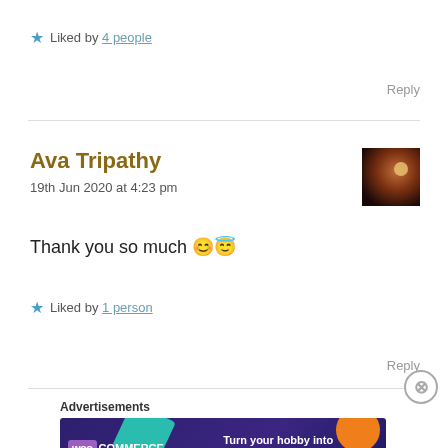★ Liked by 4 people
Reply
Ava Tripathy
19th Jun 2020 at 4:23 pm
[Figure (photo): Small avatar photo of silhouette against reddish-brown moonlit sky]
Thank you so much 😊😇
★ Liked by 1 person
Reply
Advertisements
[Figure (other): WooCommerce advertisement banner: Turn your hobby into a business in 8 steps]